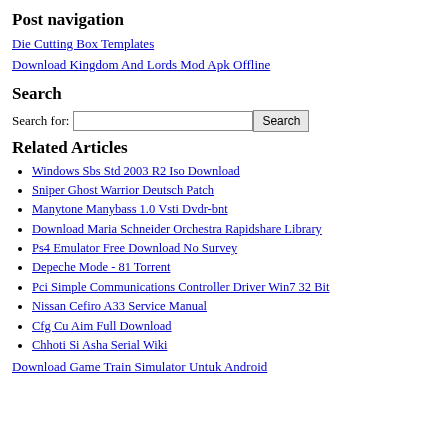Post navigation
Die Cutting Box Templates
Download Kingdom And Lords Mod Apk Offline
Search
Search for: [input] Search
Related Articles
Windows Sbs Std 2003 R2 Iso Download
Sniper Ghost Warrior Deutsch Patch
Manytone Manybass 1.0 Vsti Dvdr-bnt
Download Maria Schneider Orchestra Rapidshare Library
Ps4 Emulator Free Download No Survey
Depeche Mode - 81 Torrent
Pci Simple Communications Controller Driver Win7 32 Bit
Nissan Cefiro A33 Service Manual
Cfg Cu Aim Full Download
Chhoti Si Asha Serial Wiki
Download Game Train Simulator Untuk Android